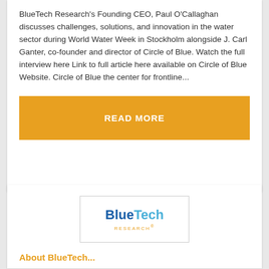BlueTech Research's Founding CEO, Paul O'Callaghan discusses challenges, solutions, and innovation in the water sector during World Water Week in Stockholm alongside J. Carl Ganter, co-founder and director of Circle of Blue. Watch the full interview here Link to full article here available on Circle of Blue Website. Circle of Blue the center for frontline...
READ MORE
[Figure (logo): BlueTech Research logo inside a rectangular border. 'Blue' in dark blue, 'Tech' in light blue, 'RESEARCH' in orange small caps below.]
About BlueTech...